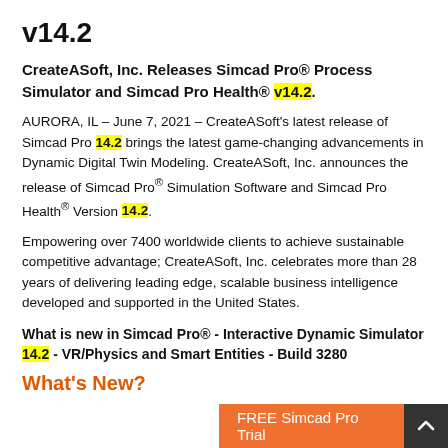v14.2
CreateASoft, Inc. Releases Simcad Pro® Process Simulator and Simcad Pro Health® v14.2.
AURORA, IL – June 7, 2021 – CreateASoft's latest release of Simcad Pro 14.2 brings the latest game-changing advancements in Dynamic Digital Twin Modeling. CreateASoft, Inc. announces the release of Simcad Pro® Simulation Software and Simcad Pro Health® Version 14.2.
Empowering over 7400 worldwide clients to achieve sustainable competitive advantage; CreateASoft, Inc. celebrates more than 28 years of delivering leading edge, scalable business intelligence developed and supported in the United States.
What is new in Simcad Pro® - Interactive Dynamic Simulator 14.2 - VR/Physics and Smart Entities - Build 3280
What's New?